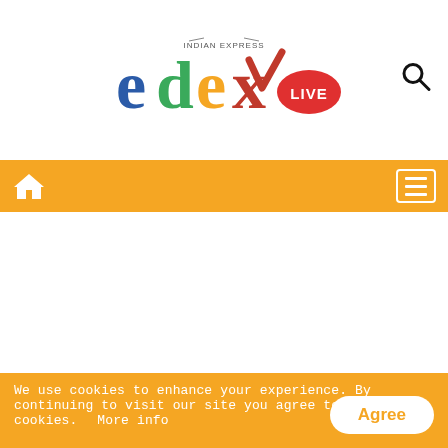edexlive - Indian Express
[Figure (logo): edexLIVE logo with Indian Express branding - colorful letters e(blue), d(green), e(orange), x(red checkmark), LIVE in red circle, with INDIAN EXPRESS text above]
The students state that the administration is
We use cookies to enhance your experience. By continuing to visit our site you agree to our use of cookies. More info